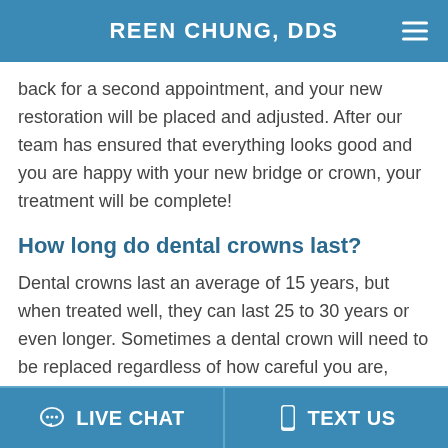REEN CHUNG, DDS
back for a second appointment, and your new restoration will be placed and adjusted. After our team has ensured that everything looks good and you are happy with your new bridge or crown, your treatment will be complete!
How long do dental crowns last?
Dental crowns last an average of 15 years, but when treated well, they can last 25 to 30 years or even longer. Sometimes a dental crown will need to be replaced regardless of how careful you are,
💬 LIVE CHAT   📱 TEXT US